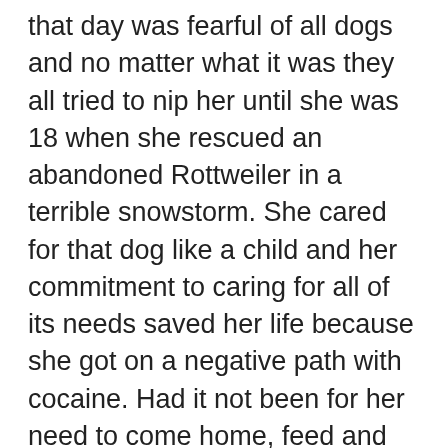that day was fearful of all dogs and no matter what it was they all tried to nip her until she was 18 when she rescued an abandoned Rottweiler in a terrible snowstorm. She cared for that dog like a child and her commitment to caring for all of its needs saved her life because she got on a negative path with cocaine. Had it not been for her need to come home, feed and walk her dog which she free yo love she would have most likely od'd on that garbage. I was able to communicate with her and express my concern and how much her dog loved her. I cry each time I tell this story. Phoenix lived to a ripe old age of 15 and they were inseparable. They saved each